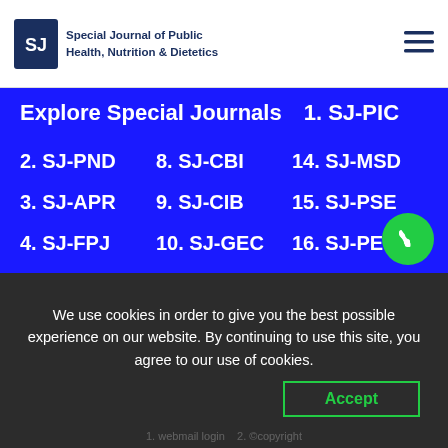Special Journal of Public Health, Nutrition & Dietetics
Explore Special Journals
1. SJ-PIC
2. SJ-PND
8. SJ-CBI
14. SJ-MSD
3. SJ-APR
9. SJ-CIB
15. SJ-PSE
4. SJ-FPJ
10. SJ-GEC
16. SJ-PES
5. SJ-OGP
11. SJ-LER
17. SJ-BFM
6. SJ-PPJ
12. SJ-EPM
18. SJ-ORR
7. SJ-BPL
13. SJ-VPL
19. SJ-PPL
We use cookies in order to give you the best possible experience on our website. By continuing to use this site, you agree to our use of cookies.
Accept